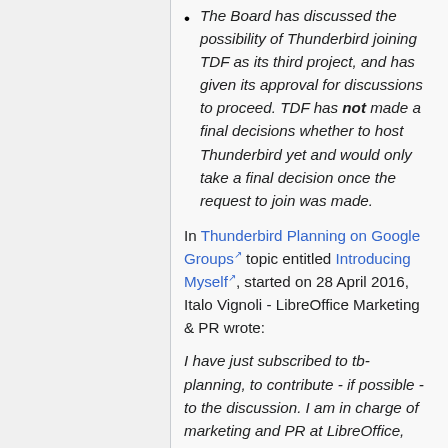The Board has discussed the possibility of Thunderbird joining TDF as its third project, and has given its approval for discussions to proceed. TDF has not made a final decisions whether to host Thunderbird yet and would only take a final decision once the request to join was made.
In Thunderbird Planning on Google Groups topic entitled Introducing Myself, started on 28 April 2016, Italo Vignoli - LibreOffice Marketing & PR wrote:
I have just subscribed to tb-planning, to contribute - if possible - to the discussion. I am in charge of marketing and PR at LibreOffice, and a happy Thunderbird user since ages (actually, using version 45 on Ubuntu and MacOS). 28 April 2016